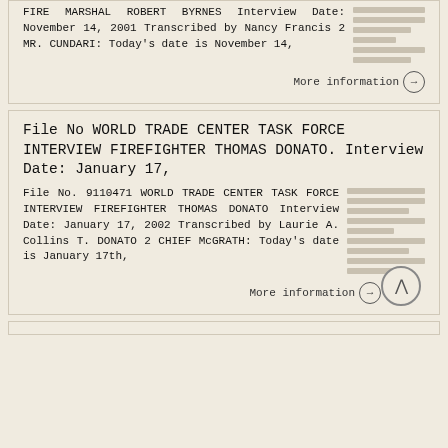TASK FORCE INTERVIEW SUPERINTENDENT FIRE MARSHAL ROBERT BYRNES Interview Date: November 14, 2001 Transcribed by Nancy Francis 2 MR. CUNDARI: Today's date is November 14,
More information →
File No WORLD TRADE CENTER TASK FORCE INTERVIEW FIREFIGHTER THOMAS DONATO. Interview Date: January 17,
File No. 9110471 WORLD TRADE CENTER TASK FORCE INTERVIEW FIREFIGHTER THOMAS DONATO Interview Date: January 17, 2002 Transcribed by Laurie A. Collins T. DONATO 2 CHIEF McGRATH: Today's date is January 17th,
More information →